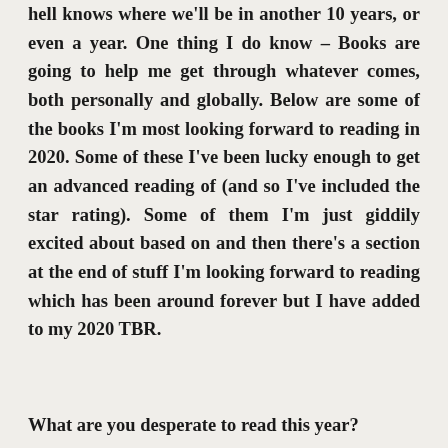hell knows where we'll be in another 10 years, or even a year. One thing I do know – Books are going to help me get through whatever comes, both personally and globally. Below are some of the books I'm most looking forward to reading in 2020. Some of these I've been lucky enough to get an advanced reading of (and so I've included the star rating). Some of them I'm just giddily excited about based on and then there's a section at the end of stuff I'm looking forward to reading which has been around forever but I have added to my 2020 TBR.
What are you desperate to read this year?